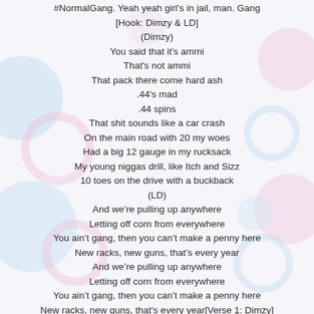#NormalGang. Yeah yeah girl's in jail, man. Gang
[Hook: Dimzy & LD]
(Dimzy)
You said that it's ammi
That's not ammi
That pack there come hard ash
.44's mad
.44 spins
That shit sounds like a car crash
On the main road with 20 my woes
Had a big 12 gauge in my rucksack
My young niggas drill, like Itch and Sizz
10 toes on the drive with a buckback
(LD)
And we're pulling up anywhere
Letting off corn from everywhere
You ain't gang, then you can't make a penny here
New racks, new guns, that's every year
And we're pulling up anywhere
Letting off corn from everywhere
You ain't gang, then you can't make a penny here
New racks, new guns, that's every year[Verse 1: Dimzy]
You said that its ammi